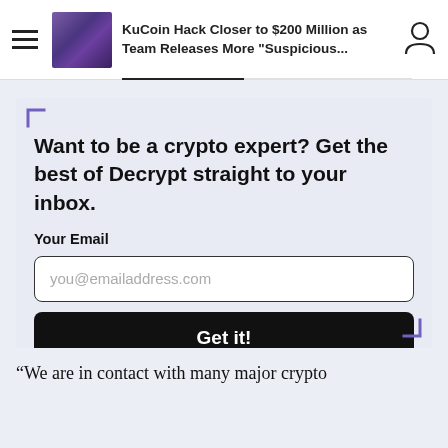KuCoin Hack Closer to $200 Million as Team Releases More "Suspicious..."
Want to be a crypto expert? Get the best of Decrypt straight to your inbox.
Your Email
you@emailaddress.com
Get it!
“We are in contact with many major crypto